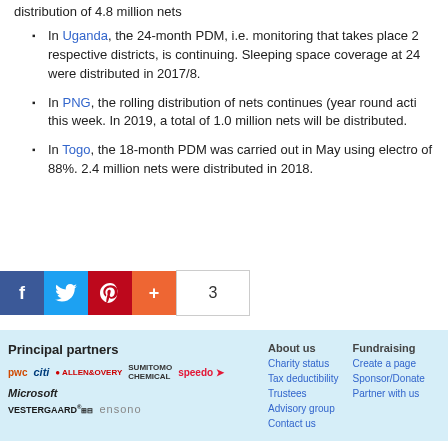distribution of 4.8 million nets
In Uganda, the 24-month PDM, i.e. monitoring that takes place 2 respective districts, is continuing. Sleeping space coverage at 24 were distributed in 2017/8.
In PNG, the rolling distribution of nets continues (year round acti this week. In 2019, a total of 1.0 million nets will be distributed.
In Togo, the 18-month PDM was carried out in May using electro of 88%. 2.4 million nets were distributed in 2018.
[Figure (infographic): Social share buttons: Facebook, Twitter, Pinterest, plus button, and share count showing 3]
Principal partners - logos: PwC, Citi, Allen & Overy, Sumitomo Chemical, Speedo, Microsoft, Vestergaard, Ensono. About us links: Charity status, Tax deductibility, Trustees, Advisory group, Contact us. Fundraising links: Create a page, Sponsor/Donate, Partner with us.